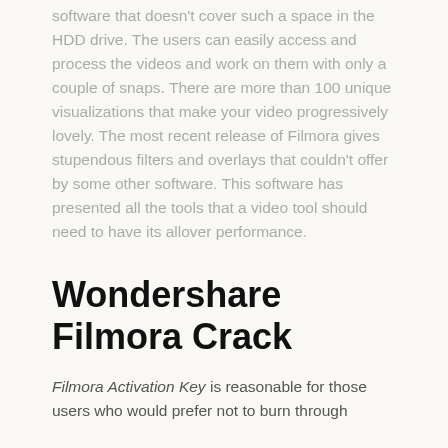software that doesn't cover such a space in the HDD drive. The users can easily access and process the videos and work on them with only a couple of snaps. There are more than 100 unique visualizations that make your video progressively lovely. The most recent release of Filmora gives stupendous filters and overlays that couldn't offer by some other software. This software has presented all the tools that a video tool should need to have its allover performance.
Wondershare Filmora Crack
Filmora Activation Key is reasonable for those users who would prefer not to burn through